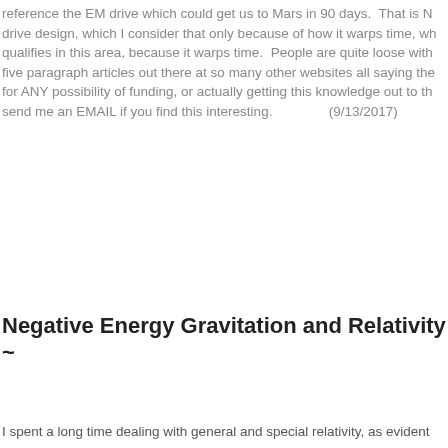reference the EM drive which could get us to Mars in 90 days.  That is N... drive design, which I consider that only because of how it warps time, wh... qualifies in this area, because it warps time.  People are quite loose with... five paragraph articles out there at so many other websites all saying the... for ANY possibility of funding, or actually getting this knowledge out to th... send me an EMAIL if you find this interesting.          (9/13/2017)
Negative Energy Gravitation and Relativity ~
I spent a long time dealing with general and special relativity, as evident...